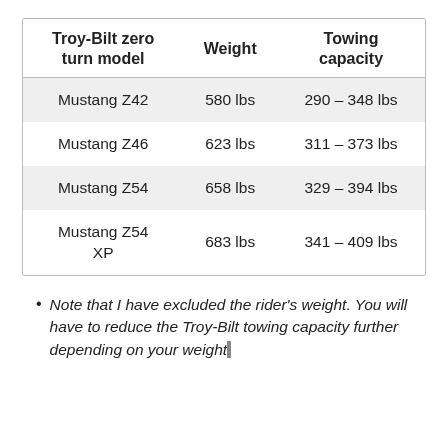| Troy-Bilt zero turn model | Weight | Towing capacity |
| --- | --- | --- |
| Mustang Z42 | 580 lbs | 290 – 348 lbs |
| Mustang Z46 | 623 lbs | 311 – 373 lbs |
| Mustang Z54 | 658 lbs | 329 – 394 lbs |
| Mustang Z54 XP | 683 lbs | 341 – 409 lbs |
Note that I have excluded the rider's weight. You will have to reduce the Troy-Bilt towing capacity further depending on your weight.